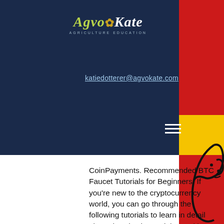AgvoKate - Agriculture Education
katiedotterer@agvokate.com
CoinPayments. Recommended BTC Faucet Tutorials for Beginners: If you're new to the cryptocurrency world, you can go through the following tutorials to learn in detail about the Bitcoins and the working of Bitcoin Faucets, bitstarz bono sin depósito codes 2022. There are multiple tasks you can do to earn these rewards, including completing surveys, watching ads and playing multiplier game, bitstarz bono sin depósito 20 giri gratuiti. You can also earn 25% rewards by referring Cointiply to other users. And what is P2P banking? BTCPOP offers a unique P2P Banking experience with Instant Loans, Investment Pools, Collateral Tied Loans &